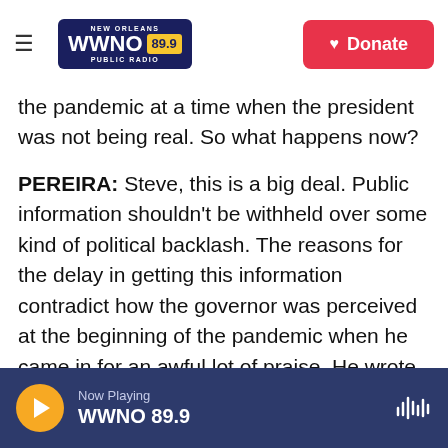NEW ORLEANS WWNO 89.9 PUBLIC RADIO | Donate
the pandemic at a time when the president was not being real. So what happens now?
PEREIRA: Steve, this is a big deal. Public information shouldn't be withheld over some kind of political backlash. The reasons for the delay in getting this information contradict how the governor was perceived at the beginning of the pandemic when he came in for an awful lot of praise. He wrote a book about his administration's response to the pandemic, and he drew national attention and even won an Emmy for his press briefings and was at one point considered a
Now Playing WWNO 89.9